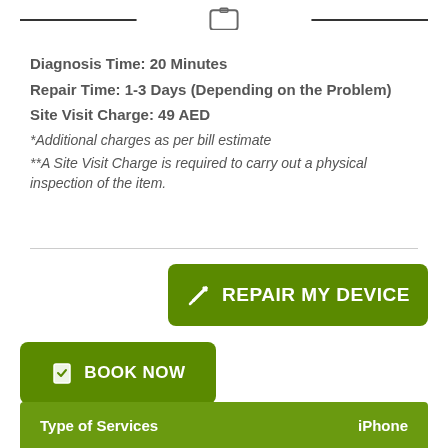[Figure (illustration): Phone icon with horizontal lines on each side forming a header divider]
Diagnosis Time: 20 Minutes
Repair Time: 1-3 Days (Depending on the Problem)
Site Visit Charge: 49 AED
*Additional charges as per bill estimate
**A Site Visit Charge is required to carry out a physical inspection of the item.
[Figure (other): Green button with wrench icon labeled REPAIR MY DEVICE]
[Figure (other): Green button with clipboard icon labeled BOOK NOW]
Type of Services    iPhone